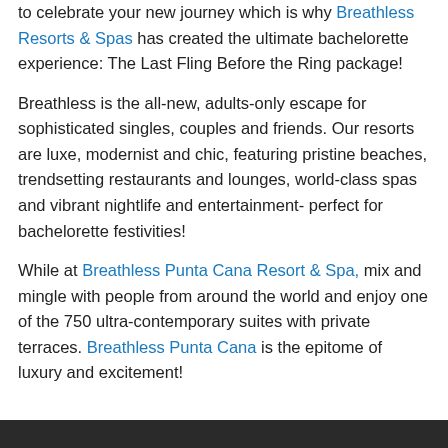to celebrate your new journey which is why Breathless Resorts & Spas has created the ultimate bachelorette experience: The Last Fling Before the Ring package!
Breathless is the all-new, adults-only escape for sophisticated singles, couples and friends. Our resorts are luxe, modernist and chic, featuring pristine beaches, trendsetting restaurants and lounges, world-class spas and vibrant nightlife and entertainment- perfect for bachelorette festivities!
While at Breathless Punta Cana Resort & Spa, mix and mingle with people from around the world and enjoy one of the 750 ultra-contemporary suites with private terraces. Breathless Punta Cana is the epitome of luxury and excitement!